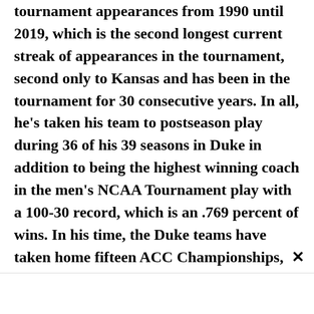tournament appearances from 1990 until 2019, which is the second longest current streak of appearances in the tournament, second only to Kansas and has been in the tournament for 30 consecutive years. In all, he's taken his team to postseason play during 36 of his 39 seasons in Duke in addition to being the highest winning coach in the men's NCAA Tournament play with a 100-30 record, which is an .769 percent of wins. In his time, the Duke teams have taken home fifteen ACC Championships, been to 12 Final Fours and also won 5 NCAA Tournament National Championships.